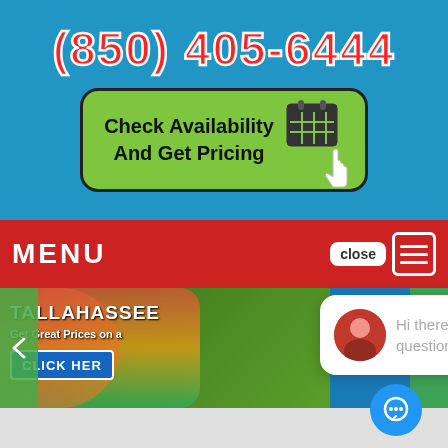(850) 405-6444
[Figure (screenshot): Green button with text 'Check Availability And Get Pricing' and a calendar/cursor icon]
MENU
[Figure (screenshot): Close button with hamburger menu icon]
[Figure (screenshot): Banner showing Tallahassee bouncer/inflatable rental with text 'TALLAHASSEE', 'Get Great Prices on a', 'CLICK HERE' button, navigation arrows, and chat bubble overlay saying 'Hi there, have a question? Text us here.' with avatar photo]
Hi there, have a question? Text us here.